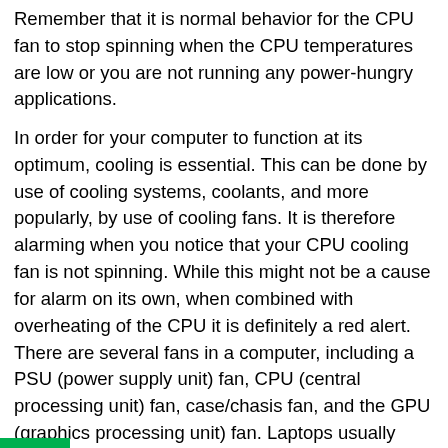Remember that it is normal behavior for the CPU fan to stop spinning when the CPU temperatures are low or you are not running any power-hungry applications.
In order for your computer to function at its optimum, cooling is essential. This can be done by use of cooling systems, coolants, and more popularly, by use of cooling fans. It is therefore alarming when you notice that your CPU cooling fan is not spinning. While this might not be a cause for alarm on its own, when combined with overheating of the CPU it is definitely a red alert. There are several fans in a computer, including a PSU (power supply unit) fan, CPU (central processing unit) fan, case/chasis fan, and the GPU (graphics processing unit) fan. Laptops usually have one fan to save on space and weight. Users have been having a common problem with their CPU fan not spinning; the computer then overheats and throws a BSOD